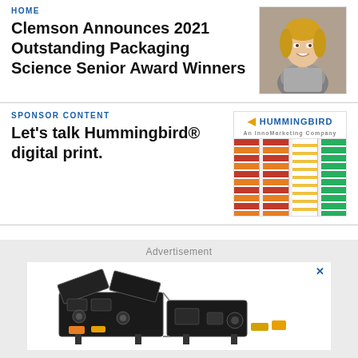HOME
Clemson Announces 2021 Outstanding Packaging Science Senior Award Winners
[Figure (photo): Young woman smiling, photographed at an event, wearing a sparkly outfit]
SPONSOR CONTENT
Let's talk Hummingbird® digital print.
[Figure (photo): Hummingbird branded packaging rolls with red, white, and green label patterns]
Advertisement
[Figure (photo): Industrial packaging machine, black metal frame with mechanical components and orange accents]